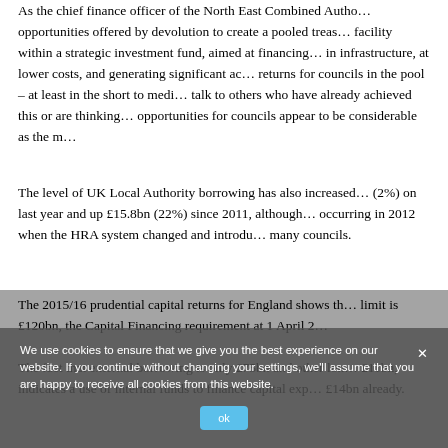As the chief finance officer of the North East Combined Authority... opportunities offered by devolution to create a pooled treasury facility within a strategic investment fund, aimed at financing in infrastructure, at lower costs, and generating significant additional returns for councils in the pool – at least in the short to medium term... talk to others who have already achieved this or are thinking about it... opportunities for councils appear to be considerable as the matter...
The level of UK Local Authority borrowing has also increased... (2%) on last year and up £15.8bn (22%) since 2011, although... occurring in 2012 when the HRA system changed and introduced... many councils.
The 2015/16 prudential capital returns for England shows that... limit is £120bn, the Capital Financing requirement at 1 April 2... The fact that external borrowing is only £75bn and other long-term... £11bn, indicates a use of internal funds to finance capital expenditure... £14bn already.